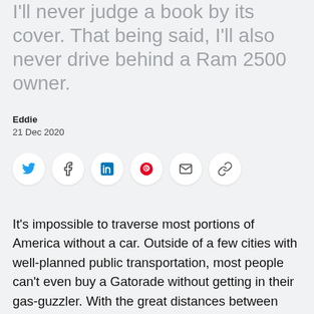I'll never judge a book by its cover. That being said, I'll also never drive behind a Ram 2500 owner.
Eddie
21 Dec 2020
[Figure (other): Social share icons: Twitter, Facebook, LinkedIn, Pinterest, Email, Link]
It's impossible to traverse most portions of America without a car. Outside of a few cities with well-planned public transportation, most people can't even buy a Gatorade without getting in their gas-guzzler. With the great distances between most points of interest, this shouldn't come as a surprise to anyone. This is also the reason drunk-driving is so prevalent in the United States. In the US, over 10,000 people die a year